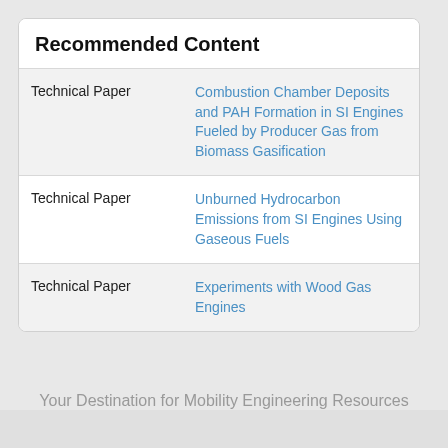Recommended Content
| Type | Title |
| --- | --- |
| Technical Paper | Combustion Chamber Deposits and PAH Formation in SI Engines Fueled by Producer Gas from Biomass Gasification |
| Technical Paper | Unburned Hydrocarbon Emissions from SI Engines Using Gaseous Fuels |
| Technical Paper | Experiments with Wood Gas Engines |
Your Destination for Mobility Engineering Resources